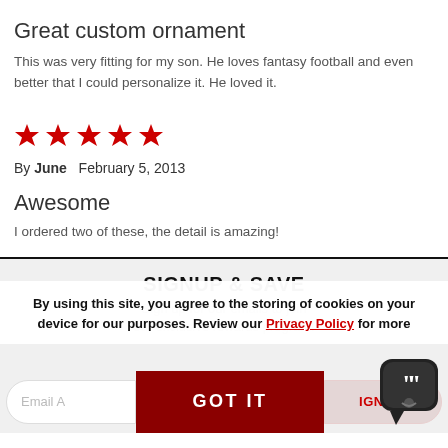Great custom ornament
This was very fitting for my son. He loves fantasy football and even better that I could personalize it. He loved it.
[Figure (other): Five red star rating icons]
By June   February 5, 2013
Awesome
I ordered two of these, the detail is amazing!
SIGNUP & SAVE
Sign up for our emails to join our exclusive rewards program!
By using this site, you agree to the storing of cookies on your device for our purposes. Review our Privacy Policy for more
Email A...   GOT IT   IGN UP